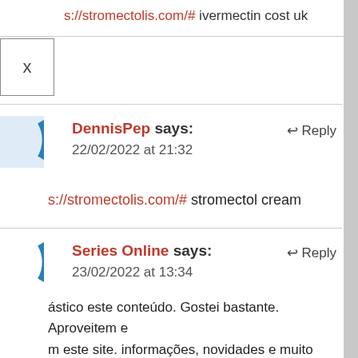s://stromectolis.com/# ivermectin cost uk
DennisPep says: 22/02/2022 at 21:32 Reply
s://stromectolis.com/# stromectol cream
Series Online says: 23/02/2022 at 13:34 Reply
ástico este conteúdo. Gostei bastante. Aproveitem e m este site. informações, novidades e muito mais. deixem de acessar para se informar mais. Obrigado a os e até mais. 🙂